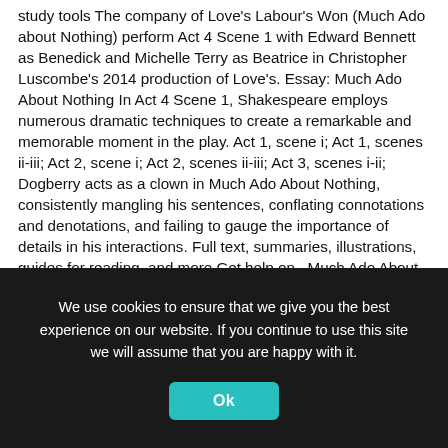study tools The company of Love's Labour's Won (Much Ado about Nothing) perform Act 4 Scene 1 with Edward Bennett as Benedick and Michelle Terry as Beatrice in Christopher Luscombe's 2014 production of Love's. Essay: Much Ado About Nothing In Act 4 Scene 1, Shakespeare employs numerous dramatic techniques to create a remarkable and memorable moment in the play. Act 1, scene i; Act 1, scenes ii-iii; Act 2, scene i; Act 2, scenes ii-iii; Act 3, scenes i-ii; Dogberry acts as a clown in Much Ado About Nothing, consistently mangling his sentences, conflating connotations and denotations, and failing to gauge the importance of details in his interactions. Full text, summaries, illustrations, guides for reading, and more Get help on   Much Ado About Nothing Act 4 Scene 1 - Review Essay   on Graduateway Huge assortment of FREE essays & assignments The best writers! William Shakespeare's Much Ado About Nothing 'Much Ado About Nothing' was written in the years 1598-9 and was know for its genre, which is a classic
We use cookies to ensure that we give you the best experience on our website. If you continue to use this site we will assume that you are happy with it.